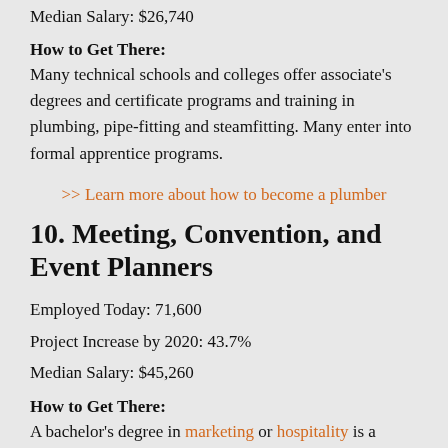Median Salary: $26,740
How to Get There:
Many technical schools and colleges offer associate's degrees and certificate programs and training in plumbing, pipe-fitting and steamfitting. Many enter into formal apprentice programs.
>> Learn more about how to become a plumber
10. Meeting, Convention, and Event Planners
Employed Today: 71,600
Project Increase by 2020: 43.7%
Median Salary: $45,260
How to Get There:
A bachelor's degree in marketing or hospitality is a